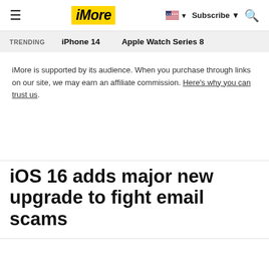iMore — hamburger menu, iMore logo, US flag, Subscribe, Search
TRENDING  iPhone 14  Apple Watch Series 8
iMore is supported by its audience. When you purchase through links on our site, we may earn an affiliate commission. Here's why you can trust us.
iOS 16 adds major new upgrade to fight email scams